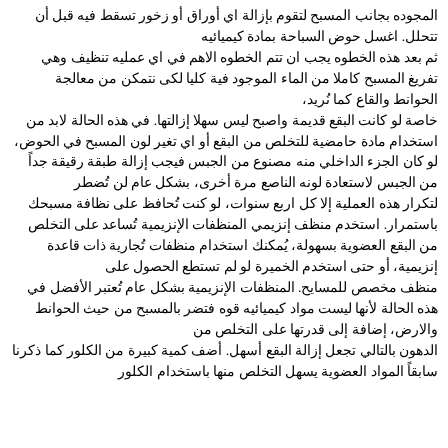المجوده بجانب المسبح لتقوم بإزالة اي أوراق أو زخور تسقط فيه قبل أن تتحلل. اغسل حوض السباحة بمادة كيميائيه ثم بعد هذه الخطوه يجب ان تتم الخطوه الاهم في اي عمليه تنظيف وهي تفريغ المسبح كاملا من الماء الموجود فية كليا لكى نتمكن من معالجة الحوانط والقاع كما نُريد، خاصة لو كانت البقع قديمة واصبح ليس سهلا إزالتها. في هذه الحالة لابد من استخدام مادة حامضية للتخلص من البقع أو اي تغير لون المسبح في الحوض، لو كان الجزء الداخلي منه مصنوع من الجبس فيجب إزالة طبقة رقيقة جداً من الجبس لاستعادة لونه الناصع مرة أخرى، بشكل عام لن تُضطر لتكرار هذه العملية إلا كل اربع سنوات، لو كنت تُحافظ على نظافة مسبحك باستمرار. استخدم منظف إنزيمي المنظفات الإنزيمية تُساعد على التخلص من البقع العضوية بسهولة، يُمكنك استخدام منظفات تُجارية ذات قاعدة إنزيمية، أو حتى استخدم الخميرة لو لم تستطع الحصول على منظف مخصص للمسايح. المنظفات الإنزيمية بشكل عام تُعتبر الأفضل في هذه الحالة لأنها ليست مواد كيميائيه قوه فتضر بالمسبح من حيث الحوانط والارض، إضافة إلى قدرتها على التخلص من الدهون بالتالي تجعل إزالة البقع أسهل. أضف كمية كبيرة من الكلور كما ذكرنا سابقاً المواد العضوية يسهل التخلص منها باستخدام الكلور